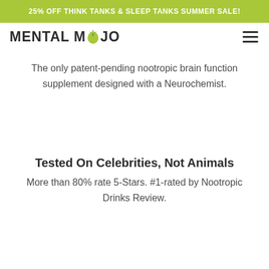25% OFF THINK TANKS & SLEEP TANKS SUMMER SALE!
[Figure (logo): Mental Mojo logo with stylized green leaf/brain icon between 'MENTAL M' and 'JO']
The only patent-pending nootropic brain function supplement designed with a Neurochemist.
Tested On Celebrities, Not Animals
More than 80% rate 5-Stars. #1-rated by Nootropic Drinks Review.